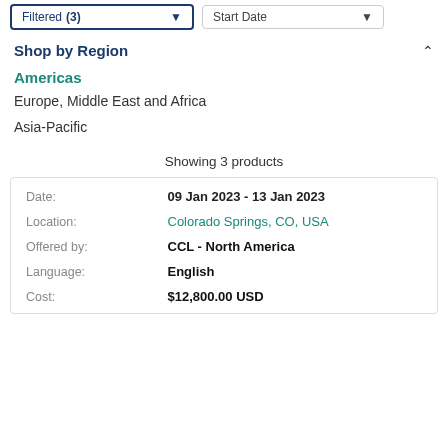Shop by Region
Americas
Europe, Middle East and Africa
Asia-Pacific
Showing 3 products
| Field | Value |
| --- | --- |
| Date: | 09 Jan 2023 - 13 Jan 2023 |
| Location: | Colorado Springs, CO, USA |
| Offered by: | CCL - North America |
| Language: | English |
| Cost: | $12,800.00 USD |